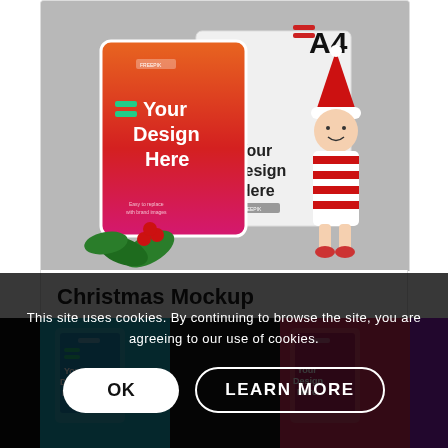[Figure (photo): Christmas mockup product card showing an A4 document mockup with holiday decorations including holly leaves, berries, and a Santa Claus figurine. The mockup shows 'Your Design Here' text on both a tablet-sized card and a rectangular box. Text 'A4' appears in top right area.]
Christmas Mockup
$12
[Figure (screenshot): Colorful multi-panel mockup preview strip showing various device/document mockups in different colors including cyan, dark, and pink/red tones with 'Your Design Here' text visible.]
This site uses cookies. By continuing to browse the site, you are agreeing to our use of cookies.
OK
LEARN MORE